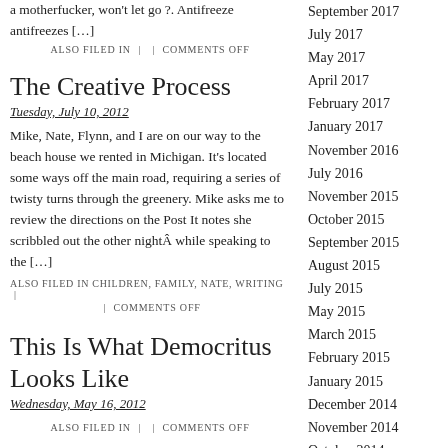a motherfucker, won't let go ?. Antifreeze antifreezes […]
ALSO FILED IN | | COMMENTS OFF
The Creative Process
Tuesday, July 10, 2012
Mike, Nate, Flynn, and I are on our way to the beach house we rented in Michigan. It's located some ways off the main road, requiring a series of twisty turns through the greenery. Mike asks me to review the directions on the Post It notes she scribbled out the other nightÂ while speaking to the […]
ALSO FILED IN CHILDREN, FAMILY, NATE, WRITING | | COMMENTS OFF
This Is What Democritus Looks Like
Wednesday, May 16, 2012
ALSO FILED IN | | COMMENTS OFF
September 2017
July 2017
May 2017
April 2017
February 2017
January 2017
November 2016
July 2016
November 2015
October 2015
September 2015
August 2015
July 2015
May 2015
March 2015
February 2015
January 2015
December 2014
November 2014
October 2014
September 2014
June 2014
April 2014
March 2014